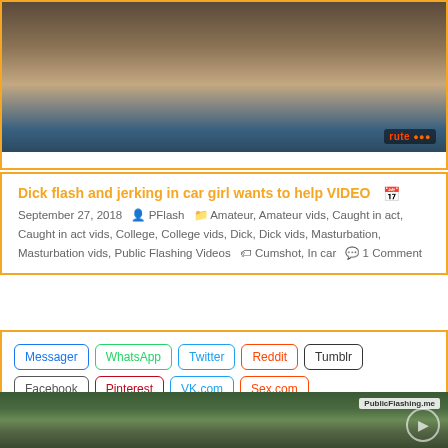[Figure (photo): Blurry video thumbnail showing skin tones and dark background with orange channel logo watermark]
Dick flash and jerking in car girl wants to help VIDEO
September 27, 2018  PFlash  Amateur, Amateur vids, Caught in act, Caught in act vids, College, College vids, Dick, Dick vids, Masturbation, Masturbation vids, Public Flashing Videos  Cumshot, In car  1 Comment
Messager WhatsApp Twitter Reddit Tumblr Facebook Pinterest VK.com Sex.com
[Figure (photo): Dark video thumbnail showing forest/outdoor scene with PublicFlashing.me watermark and play button overlay]